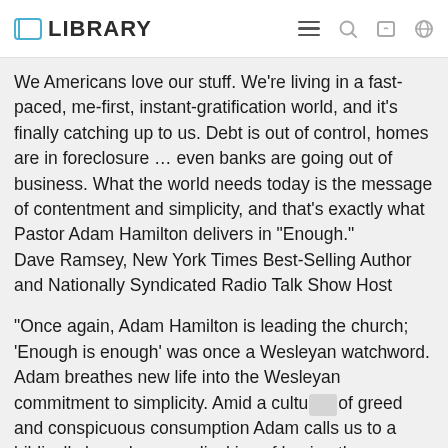LIBRARY
We Americans love our stuff. We're living in a fast-paced, me-first, instant-gratification world, and it's finally catching up to us. Debt is out of control, homes are in foreclosure … even banks are going out of business. What the world needs today is the message of contentment and simplicity, and that's exactly what Pastor Adam Hamilton delivers in "Enough."
Dave Ramsey, New York Times Best-Selling Author and Nationally Syndicated Radio Talk Show Host
"Once again, Adam Hamilton is leading the church; 'Enough is enough' was once a Wesleyan watchword. Adam breathes new life into the Wesleyan commitment to simplicity. Amid a culture of greed and conspicuous consumption Adam calls us to a biblically based, evangelical joy of having the